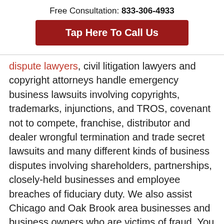Free Consultation: 833-306-4933
[Figure (other): Red button with white text reading 'Tap Here To Call Us']
dispute lawyers, civil litigation lawyers and copyright attorneys handle emergency business lawsuits involving copyrights, trademarks, injunctions, and TROS, covenant not to compete, franchise, distributor and dealer wrongful termination and trade secret lawsuits and many different kinds of business disputes involving shareholders, partnerships, closely-held businesses and employee breaches of fiduciary duty. We also assist Chicago and Oak Brook area businesses and business owners who are victims of fraud. You can contact us by calling (630) 333-0333 or our